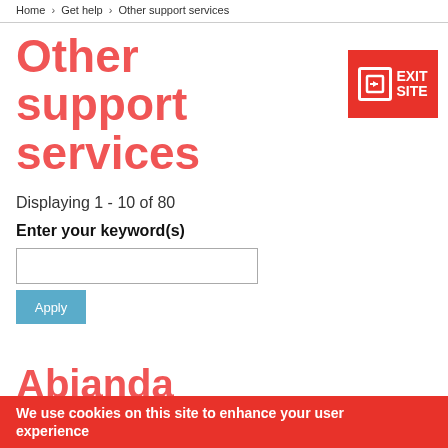Home > Get help > Other support services
Other support services
Displaying 1 - 10 of 80
Enter your keyword(s)
Abianda
We use cookies on this site to enhance your user experience